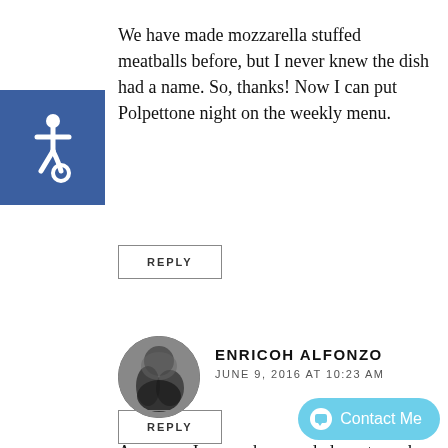We have made mozzarella stuffed meatballs before, but I never knew the dish had a name. So, thanks! Now I can put Polpettone night on the weekly menu.
[Figure (logo): Blue accessibility icon with wheelchair symbol]
REPLY
[Figure (photo): Black and white circular avatar photo showing a person or landscape silhouette]
ENRICOH ALFONZO
JUNE 9, 2016 AT 10:23 AM
Awesome I remember my dad use to make this atleast twice a month.
Thank you for sharing and making me remember great memories
REPLY
[Figure (other): Contact Me button with speech bubble icon in light blue]